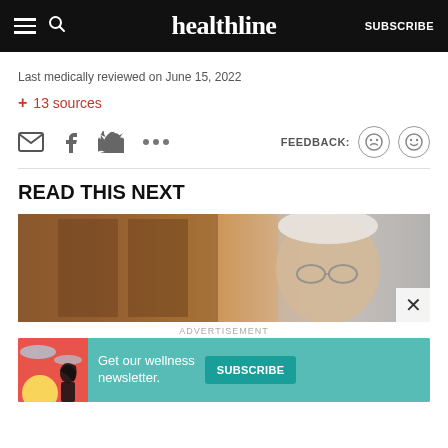healthline — SUBSCRIBE
Last medically reviewed on June 15, 2022
+ 13 sources
[Figure (infographic): Social sharing icons: email, Facebook, Twitter, more (…); Feedback section with sad and happy face emoji buttons]
READ THIS NEXT
[Figure (photo): Older man with glasses and white/gray hair photographed in front of wooden furniture, cropped to show head and top of shoulders]
ADVERTISEMENT
[Figure (infographic): Advertisement banner: Get our wellness newsletter. SUBSCRIBE button. Decorative illustration with sun, clouds, and woman silhouette on coral/teal background.]